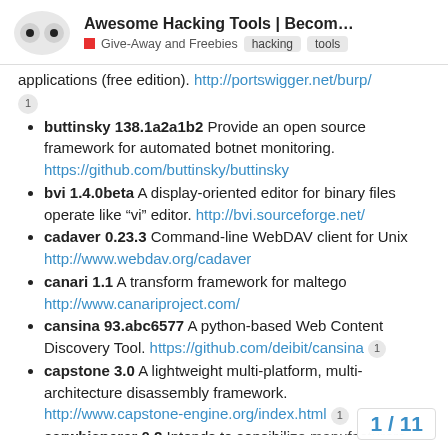Awesome Hacking Tools | Become A H... | Give-Away and Freebies | hacking | tools
applications (free edition). http://portswigger.net/burp/ [1]
buttinsky 138.1a2a1b2 Provide an open source framework for automated botnet monitoring. https://github.com/buttinsky/buttinsky
bvi 1.4.0beta A display-oriented editor for binary files operate like “vi” editor. http://bvi.sourceforge.net/
cadaver 0.23.3 Command-line WebDAV client for Unix http://www.webdav.org/cadaver
canari 1.1 A transform framework for maltego http://www.canariproject.com/
cansina 93.abc6577 A python-based Web Content Discovery Tool. https://github.com/deibit/cansina [1]
capstone 3.0 A lightweight multi-platform, multi-architecture disassembly framework. http://www.capstone-engine.org/index.html [1]
carwhisperer 0.2 Intends to sensibilize manufacturers of carkits and other Bluetooth appliances display and keyboard for the possible
1 / 11